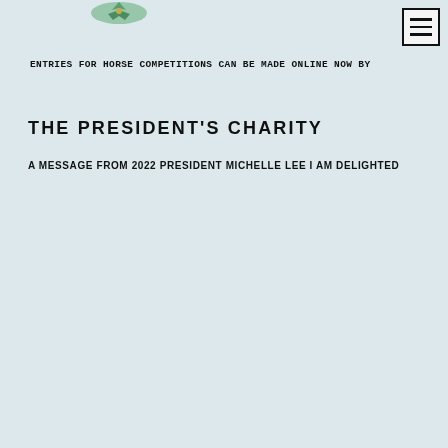[Figure (logo): Decorative logo/emblem icon at top center]
ENTRIES FOR HORSE COMPETITIONS CAN BE MADE ONLINE NOW BY
THE PRESIDENT'S CHARITY
A MESSAGE FROM 2022 PRESIDENT MICHELLE LEE I AM DELIGHTED